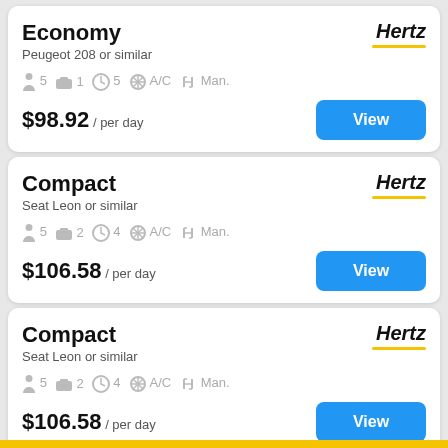Economy | Hertz | Peugeot 208 or similar | 5 passengers | 1 bag | 5 doors | A/C | Man. | $98.92 / per day | View
Compact | Hertz | Seat Leon or similar | 5 passengers | 2 bags | 4 doors | A/C | Man. | $106.58 / per day | View
Compact | Hertz | Seat Leon or similar | 5 passengers | 2 bags | 4 doors | A/C | Man. | $106.58 / per day | View